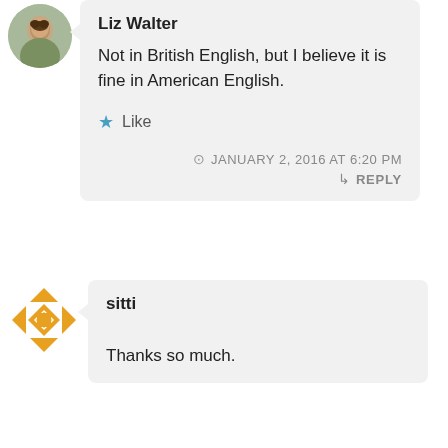[Figure (photo): Circular avatar photo of Liz Walter]
Liz Walter
Not in British English, but I believe it is fine in American English.
★ Like
JANUARY 2, 2016 AT 6:20 PM
↳ REPLY
[Figure (illustration): Geometric/decorative circular avatar for sitti in gold/yellow tones]
sitti
Thanks so much.